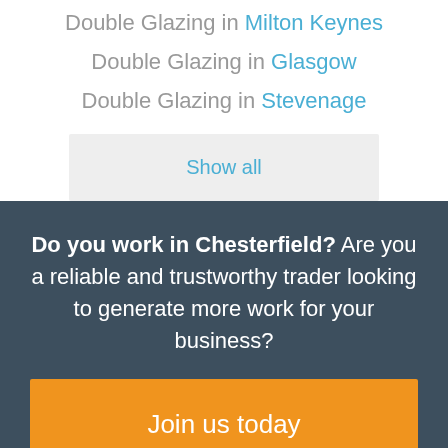Double Glazing in Milton Keynes
Double Glazing in Glasgow
Double Glazing in Stevenage
Show all
Do you work in Chesterfield? Are you a reliable and trustworthy trader looking to generate more work for your business?
Join us today